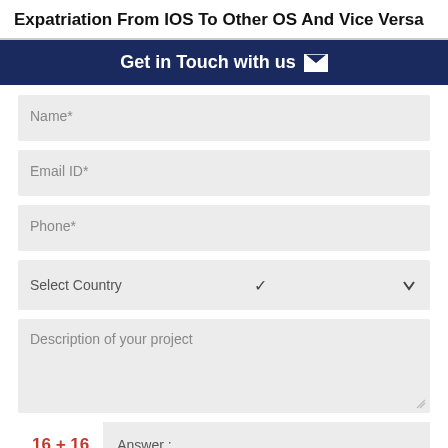Expatriation From IOS To Other OS And Vice Versa
Get in Touch with us ✉
Name*
Email ID*
Phone*
Select Country
Description of your project
16 + 16
Answer :
SUBMIT